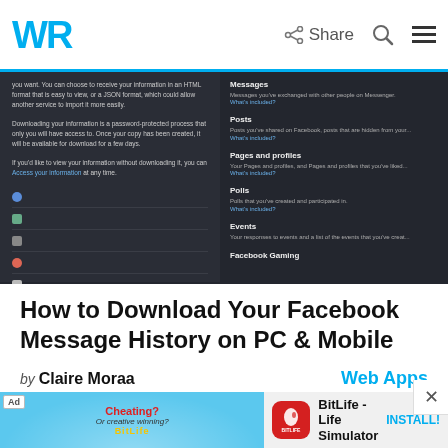WR — Share (icon) Q (search) ≡ (menu)
[Figure (screenshot): Screenshot of Facebook data download page showing options for Messages, Posts, Pages and profiles, Polls, Events, Facebook Gaming with dark background UI]
How to Download Your Facebook Message History on PC & Mobile
by Claire Moraa   Web Apps
[Figure (illustration): Advertisement banner for BitLife - Life Simulator app showing flexing arm emoji with text 'Cheating? Or creative winning?' and BitLife logo, alongside BitLife app icon and INSTALL button]